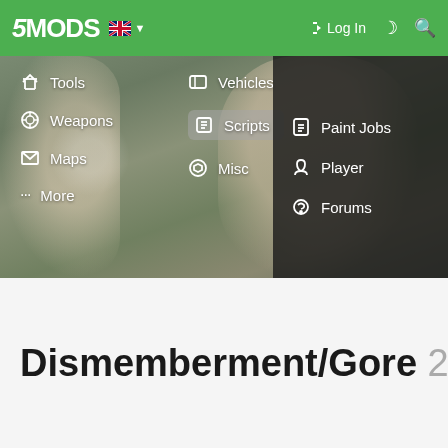[Figure (screenshot): 5MODS website navigation bar screenshot showing green header with logo, language selector, Log In button, and dropdown menu with categories: Tools, Weapons, Maps, More, Vehicles, Scripts (highlighted), Misc, Paint Jobs, Player, Forums. Background shows blurred scene from a video game.]
Dismemberment/Gore 2.2.1